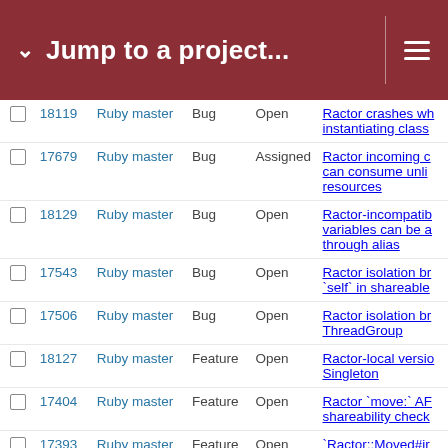Jump to a project...
|  | # | Project | Tracker | Status | Subject |
| --- | --- | --- | --- | --- | --- |
|  | 18119 | Ruby master | Bug | Open | Ractor crashes wh instantiating class |
|  | 17679 | Ruby master | Bug | Assigned | Ractor incoming c can consume unli resources |
|  | 18129 | Ruby master | Bug | Open | Ractor-incompatib variables can be a through alias |
|  | 17543 | Ruby master | Bug | Open | Ractor isolation br `self` in shareable |
|  | 17506 | Ruby master | Bug | Open | Ractor isolation br ThreadGroup |
|  | 18127 | Ruby master | Feature | Open | Ractor-local versio Singleton |
|  | 17404 | Ruby master | Feature | Open | Ractor `move:` AF shareability check |
|  | 17393 | Ruby master | Feature | Open | `Ractor::Moved#ir |
|  | 17286 | Ruby master | Feature | Open | `Ractor.new` shou `move: true` |
|  | 17998 | Ruby master | Bug | Assigned | ractor: process ha ractors initialized |